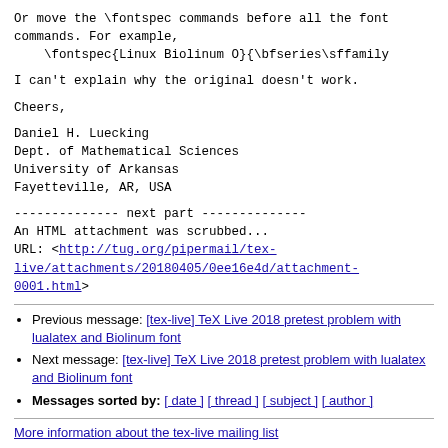Or move the \fontspec commands before all the font commands. For example,
    \fontspec{Linux Biolinum O}{\bfseries\sffamily
I can't explain why the original doesn't work.
Cheers,
Daniel H. Luecking
Dept. of Mathematical Sciences
University of Arkansas
Fayetteville, AR, USA
-------------- next part --------------
An HTML attachment was scrubbed...
URL: <http://tug.org/pipermail/tex-live/attachments/20180405/0ee16e4d/attachment-0001.html>
Previous message: [tex-live] TeX Live 2018 pretest problem with lualatex and Biolinum font
Next message: [tex-live] TeX Live 2018 pretest problem with lualatex and Biolinum font
Messages sorted by: [ date ] [ thread ] [ subject ] [ author ]
More information about the tex-live mailing list